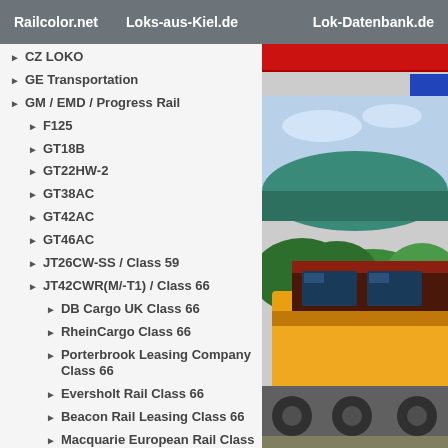Railcolor.net   Loks-aus-Kiel.de   Lok-Datenbank.de
CZ LOKO
GE Transportation
GM / EMD / Progress Rail
F125
GT18B
GT22HW-2
GT38AC
GT42AC
GT46AC
JT26CW-SS / Class 59
JT42CWR(M/-T1) / Class 66
DB Cargo UK Class 66
RheinCargo Class 66
Porterbrook Leasing Company Class 66
Eversholt Rail Class 66
Beacon Rail Leasing Class 66
Macquarie European Rail Class 66
[Figure (photo): Photo of a yellow and dark red locomotive (Class 66) parked near green bushes and a building with a teal/green curved roof, under a blue sky.]